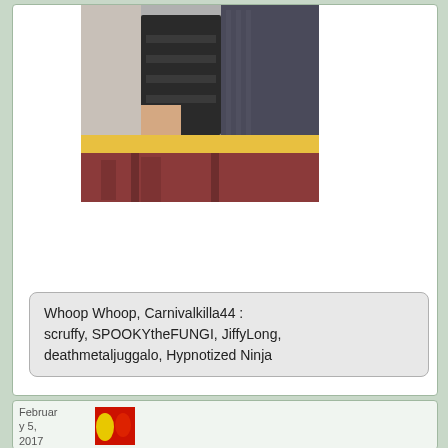[Figure (photo): A photo showing a person in a patterned sweater standing near dark wooden chairs and a yellow railing at a restaurant. Red carpet/floor visible in background.]
Whoop Whoop, Carnivalkilla44 :
scruffy, SPOOKYtheFUNGI, JiffyLong, deathmetaljuggalo, Hypnotized Ninja
February 5, 2017
1:02 pm
[Figure (photo): Small thumbnail image showing red and yellow colors (possibly a logo or image).]